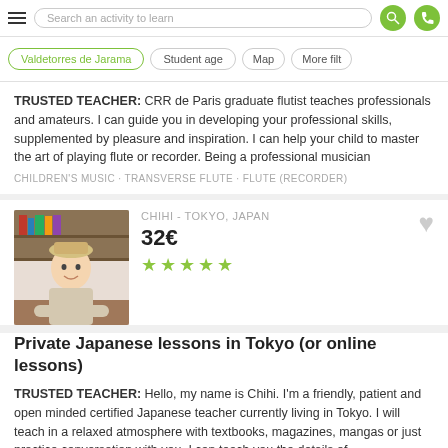Search an activity to learn
Valdetorres de Jarama · Student age · Map · More filt
TRUSTED TEACHER: CRR de Paris graduate flutist teaches professionals and amateurs. I can guide you in developing your professional skills, supplemented by pleasure and inspiration. I can help your child to master the art of playing flute or recorder. Being a professional musician
CHILDREN'S MUSIC · TRANSVERSE FLUTE · FLUTE (RECORDER)
[Figure (photo): Photo of teacher Chihi, a woman wearing a hat, sitting at a table in a room with shelves]
CHIHI - TOKYO, JAPAN
32€
★★★★★
Private Japanese lessons in Tokyo (or online lessons)
TRUSTED TEACHER: Hello, my name is Chihi. I'm a friendly, patient and open minded certified Japanese teacher currently living in Tokyo. I will teach in a relaxed atmosphere with textbooks, magazines, mangas or just practice conversation with you. I can teach you the details of
JAPANESE · TUTORING · GRAMMAR
[Figure (photo): Partial photo visible at the bottom of a teacher]